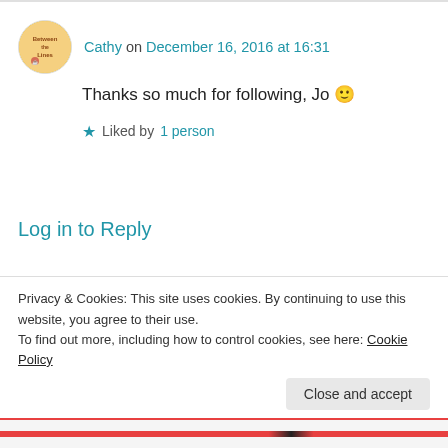Cathy on December 16, 2016 at 16:31
Thanks so much for following, Jo 🙂
★ Liked by 1 person
Log in to Reply
jorobertson2015 on December 16, 2016 at 16:33
Privacy & Cookies: This site uses cookies. By continuing to use this website, you agree to their use.
To find out more, including how to control cookies, see here: Cookie Policy
Close and accept